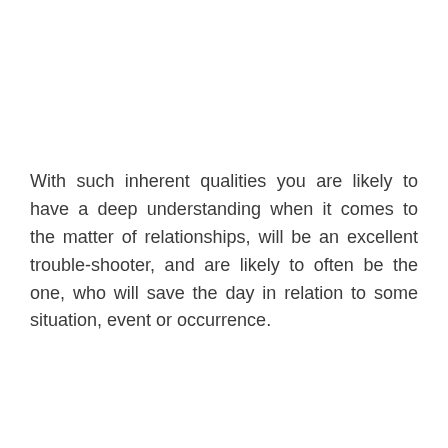With such inherent qualities you are likely to have a deep understanding when it comes to the matter of relationships, will be an excellent trouble-shooter, and are likely to often be the one, who will save the day in relation to some situation, event or occurrence.